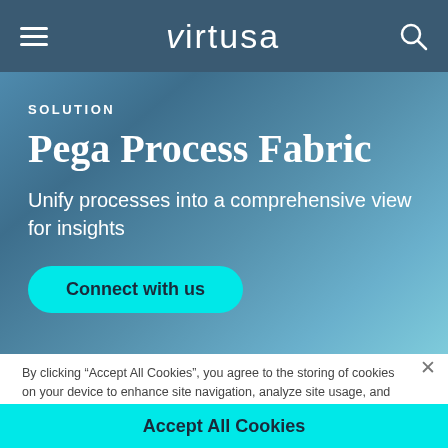virtusa
SOLUTION
Pega Process Fabric
Unify processes into a comprehensive view for insights
Connect with us
By clicking “Accept All Cookies”, you agree to the storing of cookies on your device to enhance site navigation, analyze site usage, and assist in our marketing efforts.
Cookies Settings
Accept All Cookies